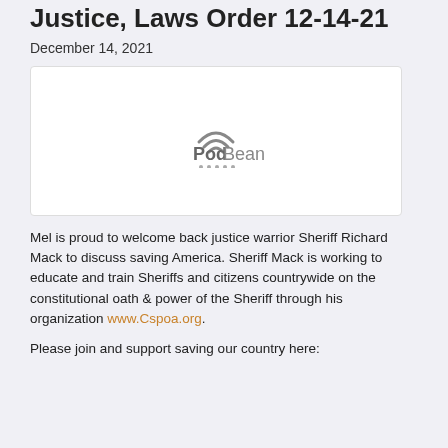Justice, Laws Order 12-14-21
December 14, 2021
[Figure (other): PodBean podcast player embed placeholder with PodBean logo and audio dots]
Mel is proud to welcome back justice warrior Sheriff Richard Mack to discuss saving America. Sheriff Mack is working to educate and train Sheriffs and citizens countrywide on the constitutional oath & power of the Sheriff through his organization www.Cspoa.org.
Please join and support saving our country here: